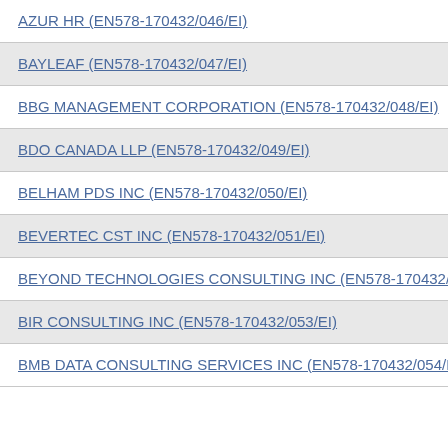AZUR HR (EN578-170432/046/EI)
BAYLEAF (EN578-170432/047/EI)
BBG MANAGEMENT CORPORATION (EN578-170432/048/EI)
BDO CANADA LLP (EN578-170432/049/EI)
BELHAM PDS INC (EN578-170432/050/EI)
BEVERTEC CST INC (EN578-170432/051/EI)
BEYOND TECHNOLOGIES CONSULTING INC (EN578-170432/05...)
BIR CONSULTING INC (EN578-170432/053/EI)
BMB DATA CONSULTING SERVICES INC (EN578-170432/054/EI)